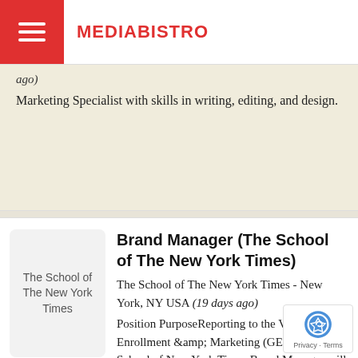MEDIABISTRO
ago) Marketing Specialist with skills in writing, editing, and design.
The School of The New York Times
Brand Manager (The School of The New York Times)
The School of The New York Times - New York, NY USA (19 days ago) Position PurposeReporting to the VP of Global Enrollment &amp; Marketing (GEM), the School of New York Times Brand Manager will have a primary an